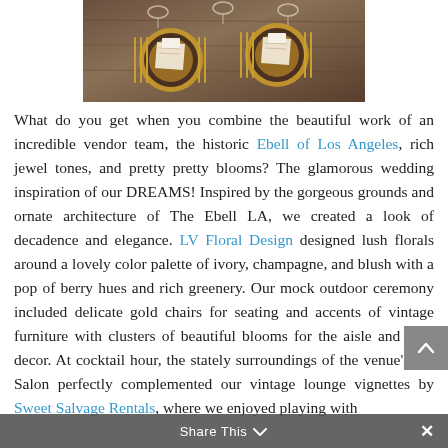[Figure (photo): Elegant wedding table setting with gold charger plates, folded napkins with place cards, and gold cutlery on a dark wood table, seen from above.]
What do you get when you combine the beautiful work of an incredible vendor team, the historic Ebell of Los Angeles, rich jewel tones, and pretty pretty blooms? The glamorous wedding inspiration of our DREAMS! Inspired by the gorgeous grounds and ornate architecture of The Ebell LA, we created a look of decadence and elegance. LV Floral Design designed lush florals around a lovely color palette of ivory, champagne, and blush with a pop of berry hues and rich greenery. Our mock outdoor ceremony included delicate gold chairs for seating and accents of vintage furniture with clusters of beautiful blooms for the aisle and altar decor. At cocktail hour, the stately surroundings of the venue's Art Salon perfectly complemented our vintage lounge vignettes by Sweet Salvage Rentals, where we enjoyed playing with